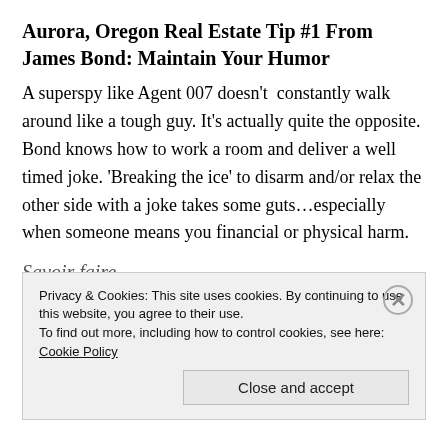Aurora, Oregon Real Estate Tip #1 From James Bond: Maintain Your Humor
A superspy like Agent 007 doesn't  constantly walk around like a tough guy. It's actually quite the opposite.  Bond knows how to work a room and deliver a well timed joke. 'Breaking the ice' to disarm and/or relax the other side with a joke takes some guts…especially when someone means you financial or physical harm.
Savoir faire
Privacy & Cookies: This site uses cookies. By continuing to use this website, you agree to their use.
To find out more, including how to control cookies, see here: Cookie Policy